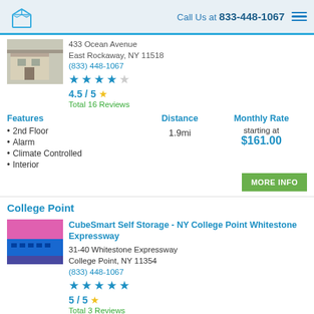Call Us at 833-448-1067
433 Ocean Avenue
East Rockaway, NY 11518
(833) 448-1067
4.5 / 5
Total 16 Reviews
2nd Floor
Alarm
Climate Controlled
Interior
Distance
1.9mi
Monthly Rate
starting at
$161.00
College Point
CubeSmart Self Storage - NY College Point Whitestone Expressway
31-40 Whitestone Expressway
College Point, NY 11354
(833) 448-1067
5 / 5
Total 3 Reviews